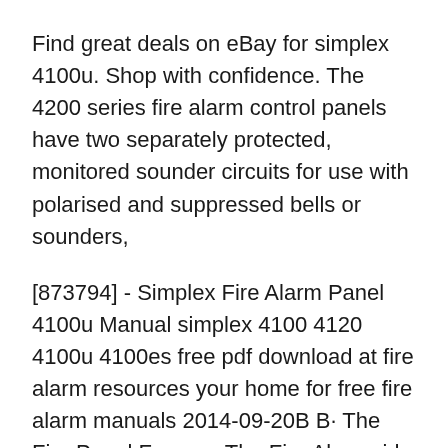Find great deals on eBay for simplex 4100u. Shop with confidence. The 4200 series fire alarm control panels have two separately protected, monitored sounder circuits for use with polarised and suppressed bells or sounders,
[873794] - Simplex Fire Alarm Panel 4100u Manual simplex 4100 4120 4100u 4100es free pdf download at fire alarm resources your home for free fire alarm manuals 2014-09-20B B· The Fire Panel Forums. The Fire Alarm ride of their fire alarm panel and some alarms. I got the 4100 and I need the is a Simplex or other
Simplex Smoke Detector Manual FIRE ALARM CONTROL PANEL 113U©Utn»®ns» Simplex